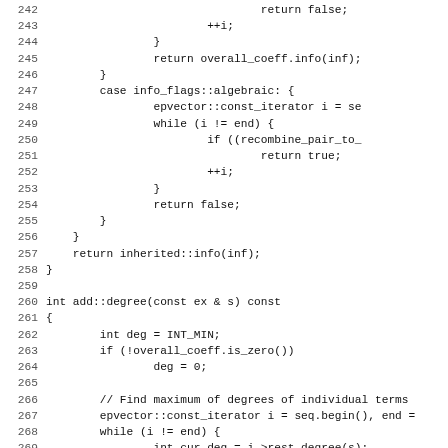Source code listing lines 242-274 showing C++ implementation of add::info and add::degree methods
242: return false;
243:     ++i;
244: }
245:     return overall_coeff.info(inf);
246:             }
247:         case info_flags::algebraic: {
248:             epvector::const_iterator i = se
249:             while (i != end) {
250:                 if ((recombine_pair_to_
251:                         return true;
252:                 ++i;
253:             }
254:             return false;
255:         }
256:     }
257:     return inherited::info(inf);
258: }
259: (blank)
260: int add::degree(const ex & s) const
261: {
262:     int deg = INT_MIN;
263:     if (!overall_coeff.is_zero())
264:             deg = 0;
265: (blank)
266:     // Find maximum of degrees of individual terms
267:     epvector::const_iterator i = seq.begin(), end =
268:     while (i != end) {
269:             int cur_deg = i->rest.degree(s);
270:             if (cur_deg > deg)
271:                     deg = cur_deg;
272:             ++i;
273:     }
274:     return deg;